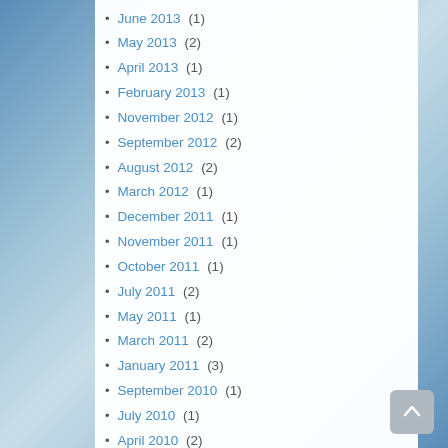June 2013 (1)
May 2013 (2)
April 2013 (1)
February 2013 (1)
November 2012 (1)
September 2012 (2)
August 2012 (2)
March 2012 (1)
December 2011 (1)
November 2011 (1)
October 2011 (1)
July 2011 (2)
May 2011 (1)
March 2011 (2)
January 2011 (3)
September 2010 (1)
July 2010 (1)
April 2010 (2)
December 2009 (1)
November 2009 (1)
September 2009 (1)
August 2009 (1)
July 2009 (1)